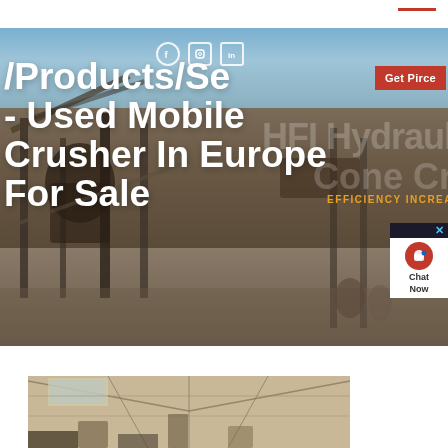[Figure (photo): Industrial mobile crusher facility in Europe, showing heavy machinery and equipment at a quarry or mining site with industrial buildings in the background. Social media icons (Facebook, Instagram, LinkedIn) visible, along with a Get Price button, a chat widget, watermark text showing cone crusher branding and efficiency increase text.]
/Products/Search - Used Mobile Crusher In Europe For Sale
[Figure (photo): Interior view of an industrial warehouse or crusher facility showing metal roof structure and machinery below.]